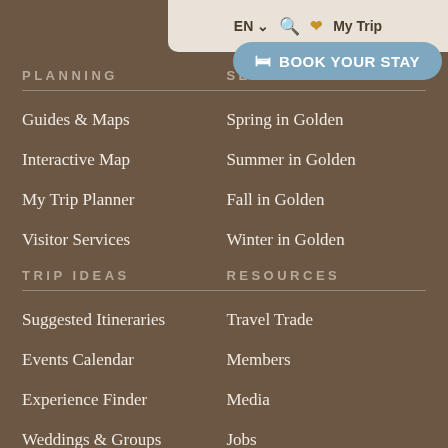EN  My Trip
PLANNING
SEASONS
BOOK YOUR STAY
Guides & Maps
Spring in Golden
Interactive Map
Summer in Golden
My Trip Planner
Fall in Golden
Visitor Services
Winter in Golden
TRIP IDEAS
RESOURCES
Suggested Itineraries
Travel Trade
Events Calendar
Members
Experience Finder
Media
Weddings & Groups
Jobs